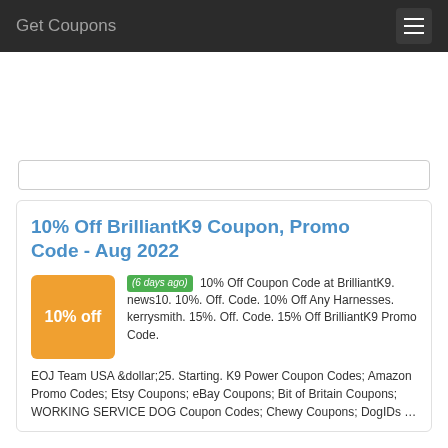Get Coupons
10% Off BrilliantK9 Coupon, Promo Code - Aug 2022
(6 days ago) 10% Off Coupon Code at BrilliantK9. news10. 10%. Off. Code. 10% Off Any Harnesses. kerrysmith. 15%. Off. Code. 15% Off BrilliantK9 Promo Code. EOJ Team USA &dollar;25. Starting. K9 Power Coupon Codes; Amazon Promo Codes; Etsy Coupons; eBay Coupons; Bit of Britain Coupons; WORKING SERVICE DOG Coupon Codes; Chewy Coupons; DogIDs …